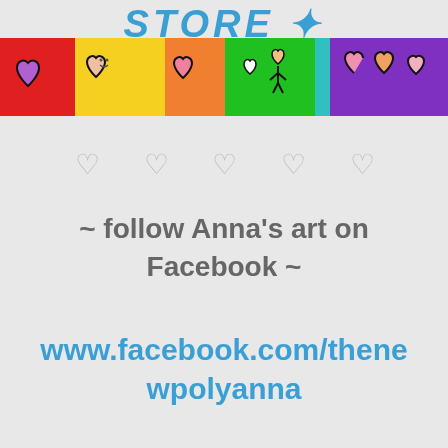STORE
[Figure (illustration): Colorful banner strip showing cartoon heart characters on rainbow-colored background sections (red, yellow, orange, green, teal, purple)]
[Figure (illustration): Five outline heart symbols arranged in a row]
~ follow Anna's art on Facebook ~
www.facebook.com/thenewpolyanna